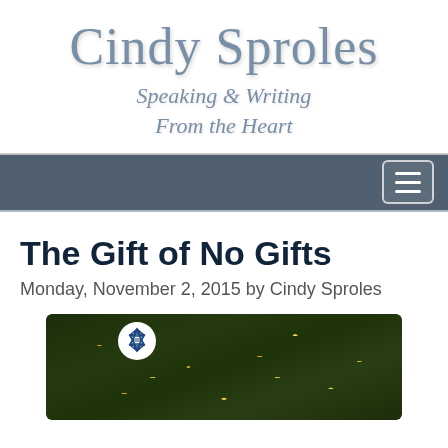Cindy Sproles
Speaking & Writing From the Heart
The Gift of No Gifts
Monday, November 2, 2015 by Cindy Sproles
[Figure (photo): A decorated Christmas tree with lights and a Star of David ornament visible in the foreground]